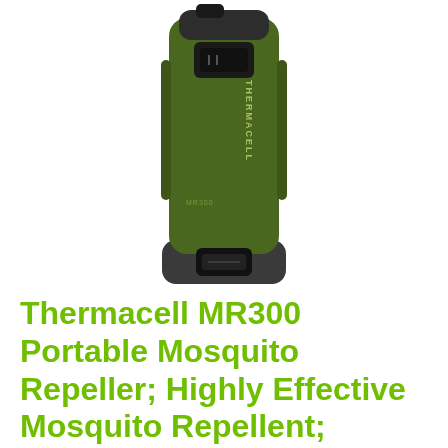[Figure (photo): Thermacell MR300 portable mosquito repeller device in olive green color, viewed from the front/back, showing the THERMACELL branding vertically on the side, a black on/off switch at top, and a black connector port at bottom.]
Thermacell MR300 Portable Mosquito Repeller; Highly Effective Mosquito Repellent; Includes 12 Hours of Long Lasting Refills; No S...